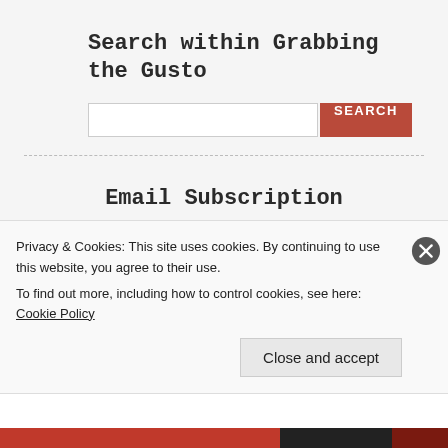Search within Grabbing the Gusto
[Figure (screenshot): Search input box with SEARCH button]
Email Subscription
Enter your email address to receive
Privacy & Cookies: This site uses cookies. By continuing to use this website, you agree to their use.
To find out more, including how to control cookies, see here: Cookie Policy
Close and accept